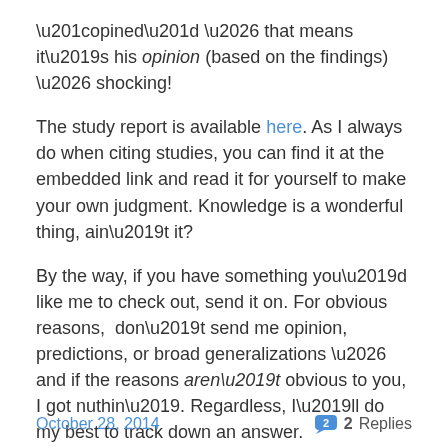“opined” … that means it’s his opinion (based on the findings) … shocking!
The study report is available here. As I always do when citing studies, you can find it at the embedded link and read it for yourself to make your own judgment. Knowledge is a wonderful thing, ain’t it?
By the way, if you have something you’d like me to check out, send it on. For obvious reasons,  don’t send me opinion, predictions, or broad generalizations … and if the reasons aren’t obvious to you, I got nuthin’. Regardless, I’ll do my best to track down an answer.
Just don’t get mad if it’s not the one you expect.
October 28, 2014  2 Replies